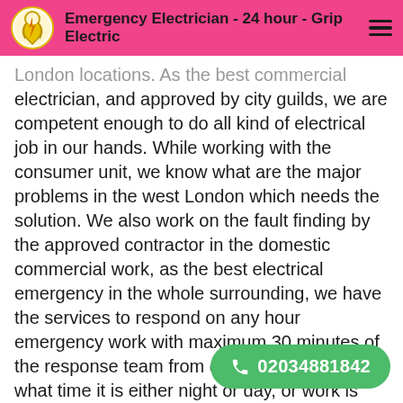Emergency Electrician - 24 hour - Grip Electric
London locations. As the best commercial electrician, and approved by city guilds, we are competent enough to do all kind of electrical job in our hands. While working with the consumer unit, we know what are the major problems in the west London which needs the solution. We also work on the fault finding by the approved contractor in the domestic commercial work, as the best electrical emergency in the whole surrounding, we have the services to respond on any hour emergency work with maximum 30 minutes of the response team from our team. No matter what time it is either night or day, or work is easy or difficult like related toe storage he... to complete the services emergency work ...